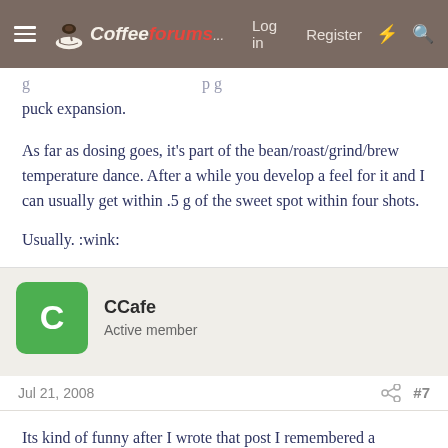CoffeeForums.com — Log in  Register
puck expansion.
As far as dosing goes, it's part of the bean/roast/grind/brew temperature dance. After a while you develop a feel for it and I can usually get within .5 g of the sweet spot within four shots.
Usually. :wink:
CCafe
Active member
Jul 21, 2008	#7
Its kind of funny after I wrote that post I remembered a